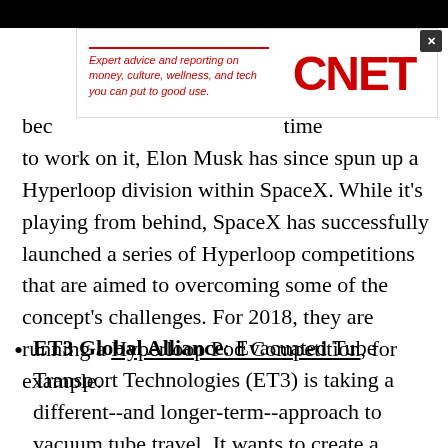[Figure (other): CNET advertisement banner with tagline 'Expert advice and reporting on money, culture, wellness, and tech you can put to good use.' and red CNET logo]
bec... time to work on it, Elon Musk has since spun up a Hyperloop division within SpaceX. While it's playing from behind, SpaceX has successfully launched a series of Hyperloop competitions that are aimed to overcoming some of the concept's challenges. For 2018, they are running a Hyperloop Pod Competition, for example.
ET3 Global Alliance: Evacuated Tube Transport Technologies (ET3) is taking a different--and longer-term--approach to vacuum tube travel. It wants to create a network of smaller capsules that can travel at about 375 mph. Think of it as a hyperloop-powered superhighway full of